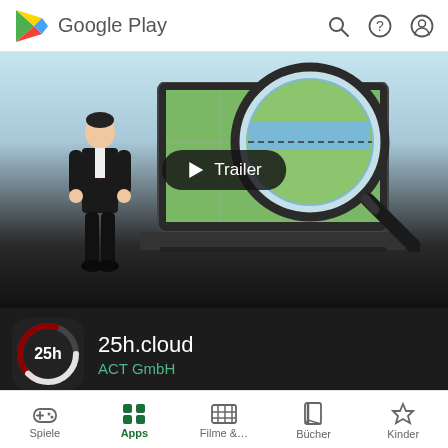Google Play
[Figure (screenshot): Google Play Store app listing for 25h.cloud by ACT GmbH, showing a trailer thumbnail with a business person, laptop with map, and magnifying glass on a light blue background. A Trailer play button overlay is shown in the center.]
25h.cloud
ACT GmbH
100+
Spiele  Apps  Filme &...  Bücher  Kinder